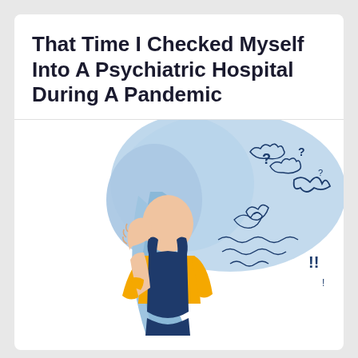That Time I Checked Myself Into A Psychiatric Hospital During A Pandemic
[Figure (illustration): Illustration of a person with blue hair covering their face with one hand, wearing a dark blue sleeveless top and yellow long-sleeve shirt underneath. Behind them is a large light blue speech/thought bubble filled with dark blue doodles including question marks, swirls, clouds, exclamation marks, and chaotic lines, representing mental distress.]